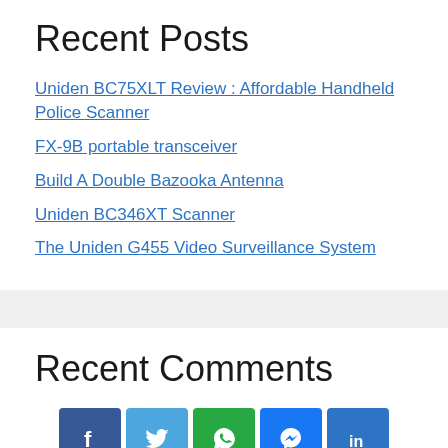Recent Posts
Uniden BC75XLT Review : Affordable Handheld Police Scanner
FX-9B portable transceiver
Build A Double Bazooka Antenna
Uniden BC346XT Scanner
The Uniden G455 Video Surveillance System
Recent Comments
[Figure (infographic): Social media share buttons: Facebook, Twitter, WhatsApp, Messenger, LinkedIn]